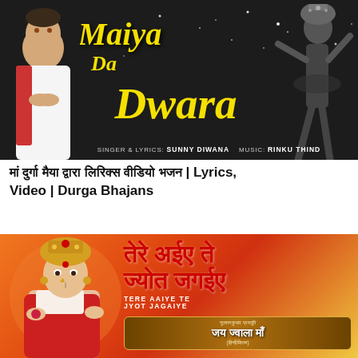[Figure (illustration): Black and white promotional banner for Bhajan 'Maiya Da Dwara' with a singer in white clothing on left and a dancer figure on right. Yellow stylized text reads 'Maiya Da Dwara'. Credits at bottom: SINGER & LYRICS: SUNNY DIWANA MUSIC: RINKU THIND]
मां दुर्गा मैया द्वारा लिरिक्स वीडियो भजन | Lyrics, Video | Durga Bhajans
[Figure (illustration): Colorful promotional banner showing Durga Mata idol on left and Hindi text 'तेरे अईए ते ज्योत जगईए' (TERE AAIYE TE JYOT JAGAIYE) on right with a brown decorative box showing 'जय ज्वाला माँ' (Jai Jwala Maa Hindi Film) by Gulshan Kumar]